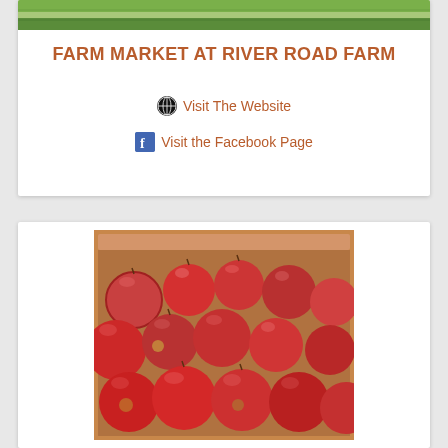[Figure (photo): Partial photo of a farm field with green grass, cropped at top of card]
FARM MARKET AT RIVER ROAD FARM
Visit The Website
Visit the Facebook Page
[Figure (photo): Box of red apples filling a cardboard box, viewed from above]